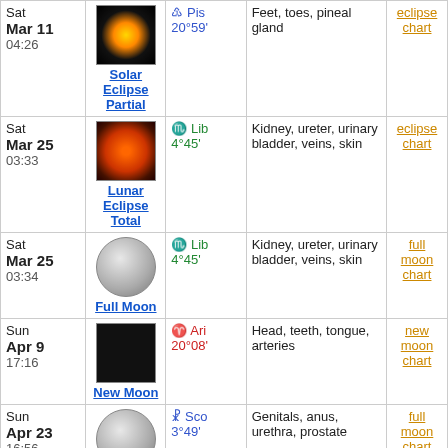| Date | Event | Sign | Body Parts | Link |
| --- | --- | --- | --- | --- |
| Sat Mar 11 04:26 | Solar Eclipse Partial | Pis 20°59' | Feet, toes, pineal gland | eclipse chart |
| Sat Mar 25 03:33 | Lunar Eclipse Total | Lib 4°45' | Kidney, ureter, urinary bladder, veins, skin | eclipse chart |
| Sat Mar 25 03:34 | Full Moon | Lib 4°45' | Kidney, ureter, urinary bladder, veins, skin | full moon chart |
| Sun Apr 9 17:16 | New Moon | Ari 20°08' | Head, teeth, tongue, arteries | new moon chart |
| Sun Apr 23 16:56 | Full Moon | Sco 3°49' | Genitals, anus, urethra, prostate | full moon chart |
| Tue May 9 03:21 | New Moon | Tau 18°48' | Neck, vocal cords, throat, thyroid gland | new moon chart |
| Tue May 23 07:02 | Full Moon | Sag 2°27' | Liver, hips, thighs, sacrum | full moon chart |